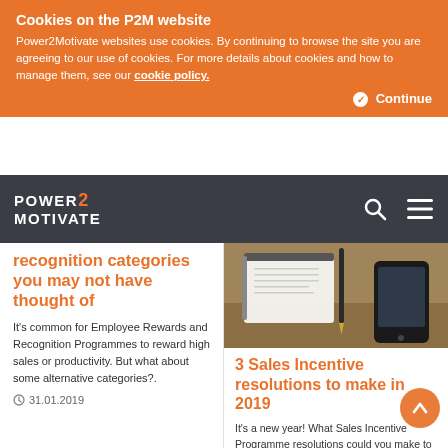Cookies on the P2M website
Power2Motivate websites use cookies. By continuing to browse the site you are agreeing to our use of cookies. For more details about cookies and how to manage them, see our cookie policy.
Continue
POWER 2 MOTIVATE
recognition categories you may not have thought of
It's common for Employee Rewards and Recognition Programmes to reward high sales or productivity. But what about some alternative categories?.
31.01.2019
[Figure (photo): Photo of a desk with a notebook, spiral notepad, pen, and smartphone on a wooden surface]
3 Sales Incentive resolutions to make in 2019
It's a new year! What Sales Incentive Programme resolutions could you make to make sure your sales team are working as effectively as possible?.